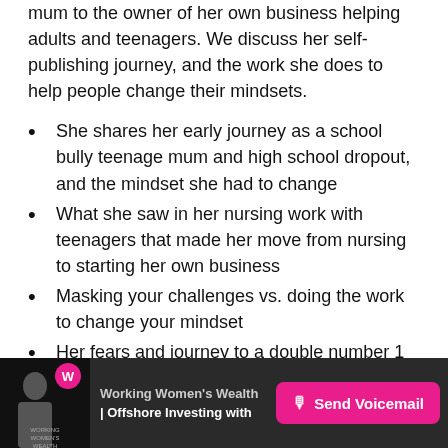mum to the owner of her own business helping adults and teenagers.  We discuss her self-publishing journey, and the work she does to help people change their mindsets.
She shares her early journey as a school bully teenage mum and high school dropout, and the mindset she had to change
What she saw in her nursing work with teenagers that made her move from nursing to starting her own business
Masking your challenges vs. doing the work to change your mindset
Her fears and journey to a double number 1 ranking self-published author and why she chose that above
Working Women's Wealth | Offshore Investing with | Send Voicemail